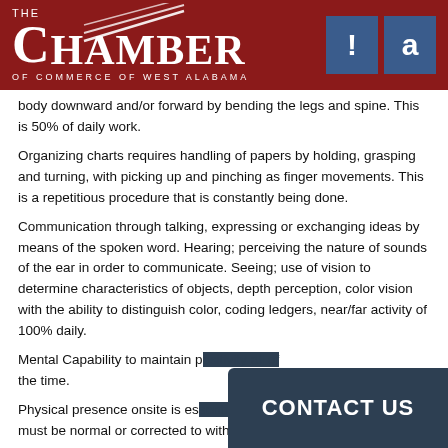[Figure (logo): The Chamber of Commerce of West Alabama logo on dark red background with exclamation mark and letter 'a' icons]
body downward and/or forward by bending the legs and spine.  This is 50% of daily work.
Organizing charts requires handling of papers by holding, grasping and turning, with picking up and pinching as finger movements.  This is a repetitious procedure that is constantly being done.
Communication through talking, expressing or exchanging ideas by means of the spoken word.  Hearing; perceiving the nature of sounds of the ear in order to communicate.  Seeing; use of vision to determine characteristics of objects, depth perception, color vision with the ability to distinguish color, coding ledgers, near/far activity of 100% daily.
Mental Capability to maintain p[artial text] the time.
Physical presence onsite is es[sential text] must be normal or corrected to within normal range.  Able to